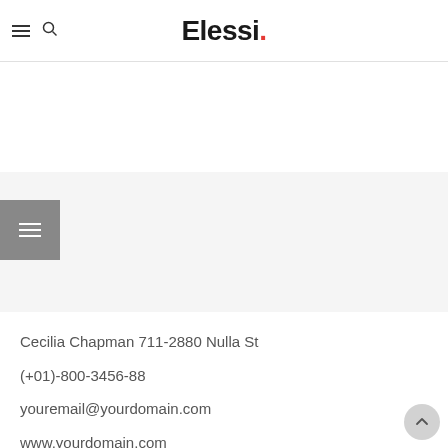Elessi.
[Figure (other): Gray menu/hamburger button on gray background area]
Cecilia Chapman 711-2880 Nulla St
(+01)-800-3456-88
youremail@yourdomain.com
www.yourdomain.com
[contact-form-7 id="210" title="Elessi Newsletter Form Footer"]